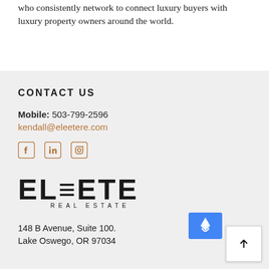who consistently network to connect luxury buyers with luxury property owners around the world.
CONTACT US
Mobile: 503-799-2596
kendall@eleetere.com
[Figure (other): Social media icons: Facebook, LinkedIn, Instagram]
[Figure (logo): ELEETE REAL ESTATE logo]
148 B Avenue, Suite 100.
Lake Oswego, OR 97034